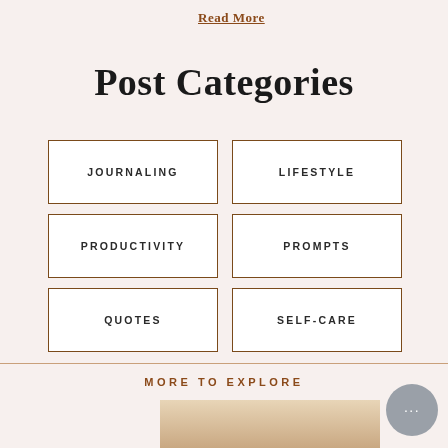Read More
Post Categories
JOURNALING
LIFESTYLE
PRODUCTIVITY
PROMPTS
QUOTES
SELF-CARE
MORE TO EXPLORE
[Figure (photo): Partial photo of a person, visible from approximately the shoulders up, with warm beige/cream tones]